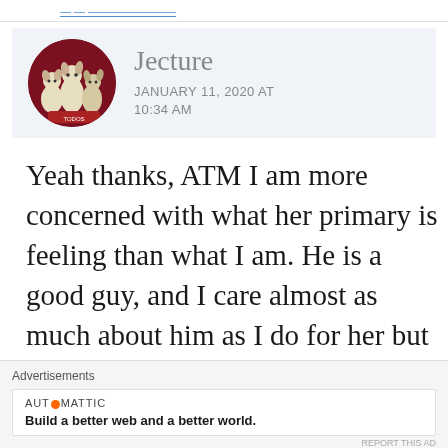Jecture
JANUARY 11, 2020 AT 10:34 AM
Yeah thanks, ATM I am more concerned with what her primary is feeling than what I am. He is a good guy, and I care almost as much about him as I do for her but there is a wall of
Advertisements
AUT●MATTIC
Build a better web and a better world.